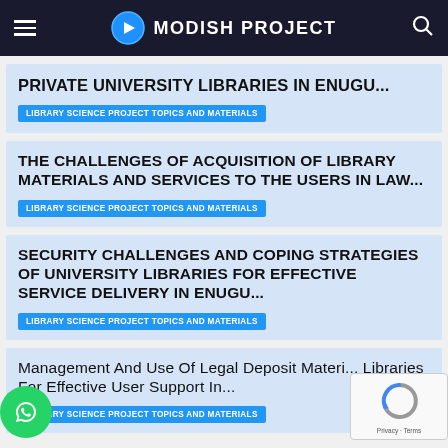MODISH PROJECT
PRIVATE UNIVERSITY LIBRARIES IN ENUGU...
LIBRARY SCIENCE PROJECT TOPICS AND MATERIALS
THE CHALLENGES OF ACQUISITION OF LIBRARY MATERIALS AND SERVICES TO THE USERS IN LAW...
LIBRARY SCIENCE PROJECT TOPICS AND MATERIALS
SECURITY CHALLENGES AND COPING STRATEGIES OF UNIVERSITY LIBRARIES FOR EFFECTIVE SERVICE DELIVERY IN ENUGU...
LIBRARY SCIENCE PROJECT TOPICS AND MATERIALS
Management And Use Of Legal Deposit Materials In Libraries For Effective User Support In...
LIBRARY SCIENCE PROJECT TOPICS AND MATERIALS